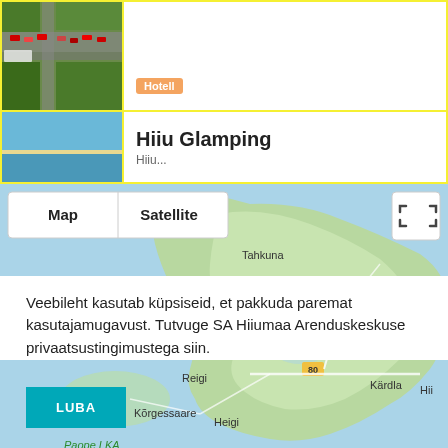[Figure (screenshot): Aerial/satellite thumbnail of a road intersection]
Hotell
[Figure (photo): Blue sky/sea thumbnail for Hiiu Glamping listing]
Hiiu Glamping
[Figure (map): Google Maps view showing Hiiumaa island, Estonia with labels: Tahkuna, Mangu, Tareste, Reigi, Kärdla, Kõrgessaare, Heigi, Paope LKA, Hiiu madala hoiuala, road 80. Map controls: Map | Satellite buttons and expand icon.]
Veebileht kasutab küpsiseid, et pakkuda paremat kasutajamugavust. Tutvuge SA Hiiumaa Arenduskeskuse privaatsustingimustega siin.
LUBA